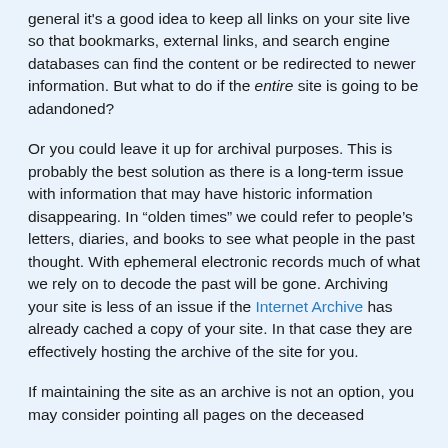general it's a good idea to keep all links on your site live so that bookmarks, external links, and search engine databases can find the content or be redirected to newer information. But what to do if the entire site is going to be adandoned?
Or you could leave it up for archival purposes. This is probably the best solution as there is a long-term issue with information that may have historic information disappearing. In “olden times” we could refer to people’s letters, diaries, and books to see what people in the past thought. With ephemeral electronic records much of what we rely on to decode the past will be gone. Archiving your site is less of an issue if the Internet Archive has already cached a copy of your site. In that case they are effectively hosting the archive of the site for you.
If maintaining the site as an archive is not an option, you may consider pointing all pages on the deceased